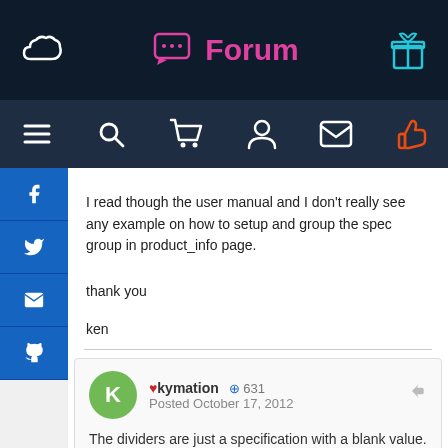Forum
I read though the user manual and I don't really see any example on how to setup and group the spec group in product_info page.

thank you

ken
♥kymation  ⊕ 631
Posted October 17, 2012

The dividers are just a specification with a blank value. The rest is